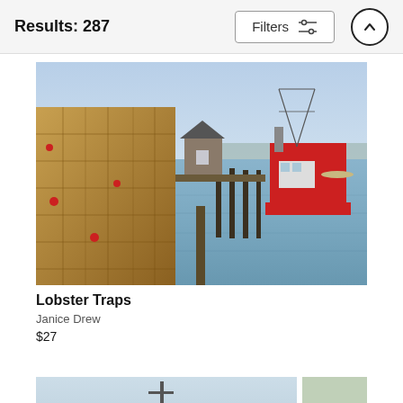Results: 287
Filters
[Figure (photo): Harbor scene with stacked lobster traps on dock in foreground, a small white building in middle, and a large red fishing vessel moored at the dock, calm blue water reflecting the scene.]
Lobster Traps
Janice Drew
$27
[Figure (photo): Partial view of another product image, appears to show a nautical/harbor scene, partially cropped.]